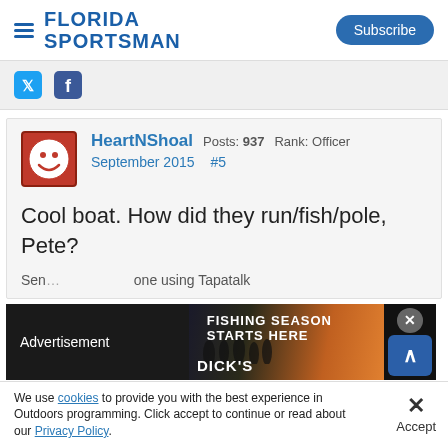FLORIDA SPORTSMAN | Subscribe
[Figure (other): Social share icons: Twitter and Facebook]
HeartNShoal Posts: 937 Rank: Officer September 2015 #5
Cool boat. How did they run/fish/pole, Pete?
Sen... one using Tapatalk
[Figure (other): Advertisement banner: Dick's Sporting Goods - Fishing Season Starts Here]
We use cookies to provide you with the best experience in Outdoors programming. Click accept to continue or read about our Privacy Policy.